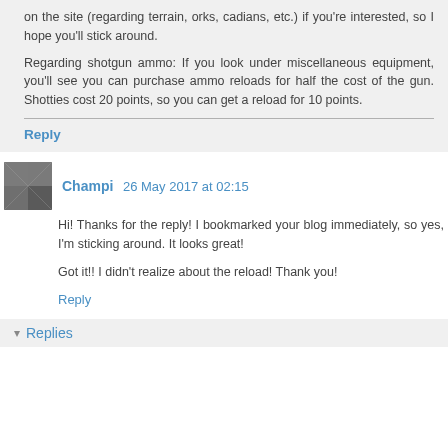on the site (regarding terrain, orks, cadians, etc.) if you're interested, so I hope you'll stick around.
Regarding shotgun ammo: If you look under miscellaneous equipment, you'll see you can purchase ammo reloads for half the cost of the gun. Shotties cost 20 points, so you can get a reload for 10 points.
Reply
Champi  26 May 2017 at 02:15
Hi! Thanks for the reply! I bookmarked your blog immediately, so yes, I'm sticking around. It looks great!
Got it!! I didn't realize about the reload! Thank you!
Reply
Replies